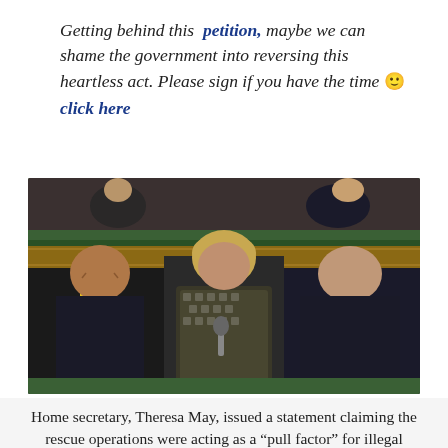Getting behind this petition, maybe we can shame the government into reversing this heartless act. Please sign if you have the time 🙂 click here
[Figure (photo): Home secretary Theresa May speaking in the House of Commons, seated between two male MPs, with green leather benches visible in the background.]
Home secretary, Theresa May, issued a statement claiming the rescue operations were acting as a “pull factor” for illegal